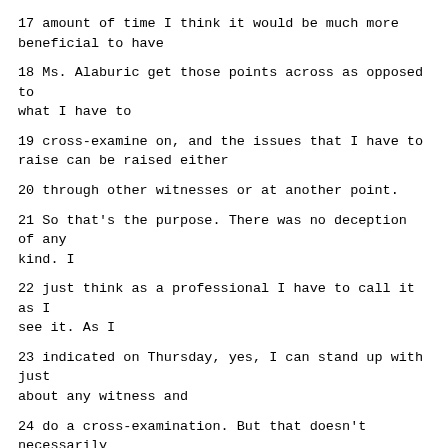17 amount of time I think it would be much more beneficial to have
18 Ms. Alaburic get those points across as opposed to what I have to
19 cross-examine on, and the issues that I have to raise can be raised either
20 through other witnesses or at another point.
21 So that's the purpose. There was no deception of any kind. I
22 just think as a professional I have to call it as I see it. As I
23 indicated on Thursday, yes, I can stand up with just about any witness and
24 do a cross-examination. But that doesn't necessarily mean that's always
25 wise, and a good cross-examination sometimes is no cross-examination, or a
Page 14311
1 limited one, which takes time to prepare. So I'm not trying to -- I don't